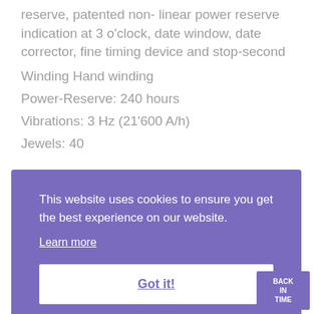reserve, patented non-linear power reserve indication at 3 o'clock, date window, date corrector, fine timing device and stop-second
Winding Hand winding
Power-Reserve: 240 hours
Vibrations: 3 Hz (21'600 A/h)
Jewels: 40
This website uses cookies to ensure you get the best experience on our website. Learn more Got it!
BACK IN TIME
plated